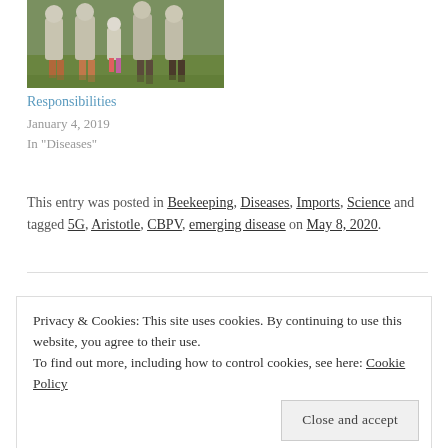[Figure (photo): Group of beekeepers in white protective suits standing outdoors on grass]
Responsibilities
January 4, 2019
In "Diseases"
This entry was posted in Beekeeping, Diseases, Imports, Science and tagged 5G, Aristotle, CBPV, emerging disease on May 8, 2020.
Privacy & Cookies: This site uses cookies. By continuing to use this website, you agree to their use. To find out more, including how to control cookies, see here: Cookie Policy
Close and accept